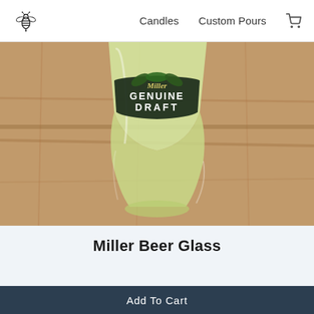Candles  Custom Pours
[Figure (photo): Close-up photo of a Miller Genuine Draft beer glass filled with a light yellow liquid (candle wax poured inside), placed on a wooden surface. The glass shows the Miller Genuine Draft logo with text 'GENUINE DRAFT' on a dark band.]
Miller Beer Glass
Add To Cart (partial, cut off at bottom)